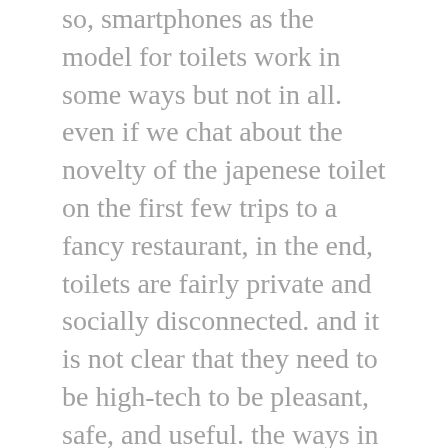so, smartphones as the model for toilets work in some ways but not in all. even if we chat about the novelty of the japenese toilet on the first few trips to a fancy restaurant, in the end, toilets are fairly private and socially disconnected. and it is not clear that they need to be high-tech to be pleasant, safe, and useful. the ways in which we will make people want to invest in a new toilet will be quite different from the ways that smartphones have become desirable. though we may be able to harness nutrients and energy from waste in these reinvented toilets, there probably won't be a constantly flow of new things that a toilet can do for us.
the comparison with smartphones may help us start the conversation about sanitation but it can't completely guide us toward the toilet of the future.